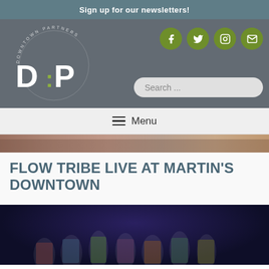Sign up for our newsletters!
[Figure (logo): Downtown Partners logo with DP letters and circular text reading 'DOWNTOWN PARTNERS' around the edge]
[Figure (infographic): Social media icons: Facebook, Twitter, Instagram, Email - olive green circular buttons]
Search ...
≡  Menu
[Figure (photo): Street-level photo of downtown buildings, partial view]
FLOW TRIBE LIVE AT MARTIN'S DOWNTOWN
[Figure (photo): Band photo of Flow Tribe members standing together wearing colorful outfits, hats, and sunglasses]